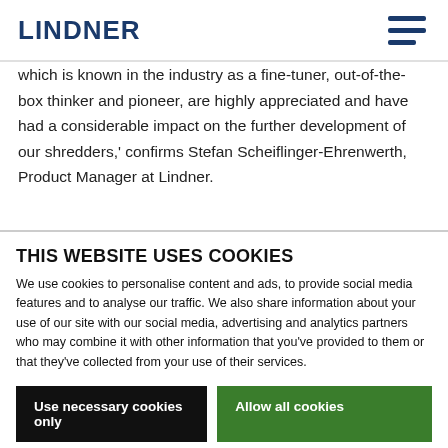LINDNER
which is known in the industry as a fine-tuner, out-of-the-box thinker and pioneer, are highly appreciated and have had a considerable impact on the further development of our shredders,' confirms Stefan Scheiflinger-Ehrenwerth, Product Manager at Lindner.
According to Scheiflinger-Ehrenwerth, the crucial secondary shredder improvements implemented by the Austrian
THIS WEBSITE USES COOKIES
We use cookies to personalise content and ads, to provide social media features and to analyse our traffic. We also share information about your use of our site with our social media, advertising and analytics partners who may combine it with other information that you've provided to them or that they've collected from your use of their services.
Use necessary cookies only
Allow all cookies
Show details